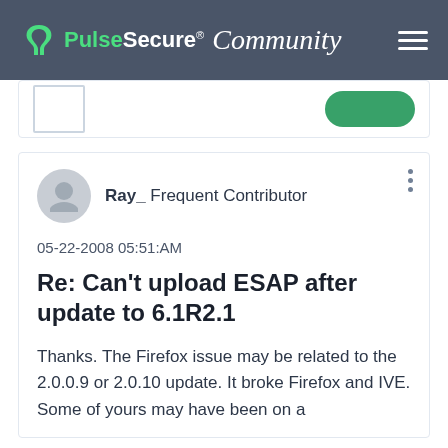Pulse Secure Community
Ray_ Frequent Contributor
05-22-2008 05:51:AM
Re: Can't upload ESAP after update to 6.1R2.1
Thanks. The Firefox issue may be related to the 2.0.0.9 or 2.0.10 update. It broke Firefox and IVE. Some of yours may have been on a